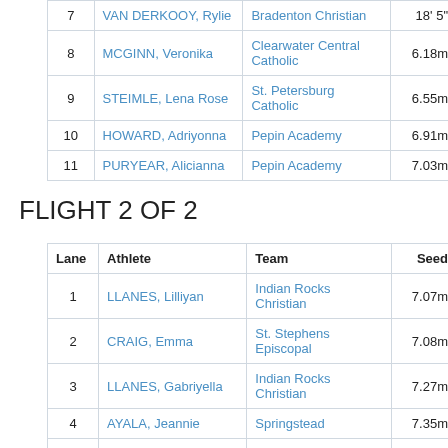| Lane | Athlete | Team | Seed |
| --- | --- | --- | --- |
| 7 | VAN DERKOOY, Rylie | Bradenton Christian | 18' 5" |
| 8 | MCGINN, Veronika | Clearwater Central Catholic | 6.18m |
| 9 | STEIMLE, Lena Rose | St. Petersburg Catholic | 6.55m |
| 10 | HOWARD, Adriyonna | Pepin Academy | 6.91m |
| 11 | PURYEAR, Alicianna | Pepin Academy | 7.03m |
FLIGHT 2 OF 2
| Lane | Athlete | Team | Seed |
| --- | --- | --- | --- |
| 1 | LLANES, Lilliyan | Indian Rocks Christian | 7.07m |
| 2 | CRAIG, Emma | St. Stephens Episcopal | 7.08m |
| 3 | LLANES, Gabriyella | Indian Rocks Christian | 7.27m |
| 4 | AYALA, Jeannie | Springstead | 7.35m |
| 5 | BOB-LWE, Chinenyenwa | Admiral Farragut | 7.52m |
| 6 | SULLIVAN, Piper | Springstead | 7.91m |
| 7 | MULLEN, Phoebe | Tampa Bay HEAT | 8.23m |
| 8 | GARY, Stephanie | Indian Rocks Christian | 8.46m |
| 9 | RUSSELL, Tallia | Springstead | 9.80m |